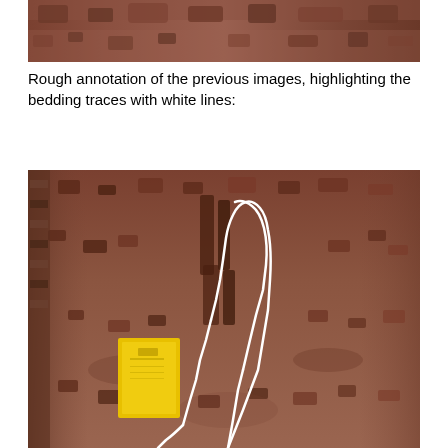[Figure (photo): Partial view of rocky/rocky sediment outcrop with reddish-brown soil and rock fragments, cropped at top of page.]
Rough annotation of the previous images, highlighting the bedding traces with white lines:
[Figure (photo): Field photograph of a reddish-brown rocky outcrop with white lines drawn over it to highlight bedding traces. A yellow field notebook is visible in the lower left for scale.]